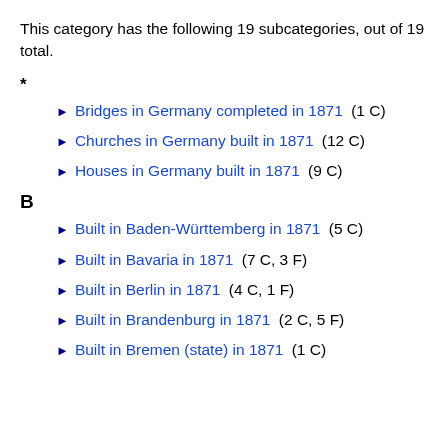This category has the following 19 subcategories, out of 19 total.
*
▶ Bridges in Germany completed in 1871 (1 C)
▶ Churches in Germany built in 1871 (12 C)
▶ Houses in Germany built in 1871 (9 C)
B
▶ Built in Baden-Württemberg in 1871 (5 C)
▶ Built in Bavaria in 1871 (7 C, 3 F)
▶ Built in Berlin in 1871 (4 C, 1 F)
▶ Built in Brandenburg in 1871 (2 C, 5 F)
▶ Built in Bremen (state) in 1871 (1 C)